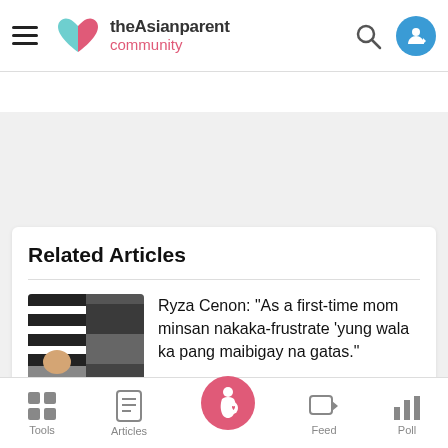theAsianparent community
Related Articles
Ryza Cenon: “As a first-time mom minsan nakaka-frustrate ‘yung wala ka pang maibigay na gatas.”
Mga Gulay na may Sardinas, Adobong
Tools | Articles | Feed | Poll